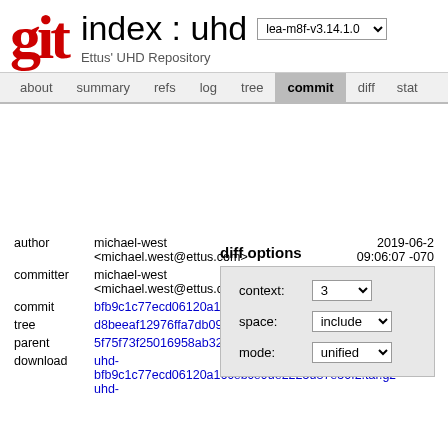git  index : uhd  lea-m8f-v3.14.1.0  Ettus' UHD Repository
about  summary  refs  log  tree  commit  diff  stat
diff options
context: 3
space: include
mode: unified
|  |  |  |
| --- | --- | --- |
| author | michael-west
<michael.west@ettus.com> | 2019-06-2
09:06:07 -070 |
| committer | michael-west
<michael.west@ettus.com> | 2019-06-2
09:06:07 -070 |
| commit | bfb9c1c77ecd06120a16cebce9de2225d87e50f2 (patch) |  |
| tree | d8beeaf12976ffa7db09b81b67d3a3fd5bd6d71d |  |
| parent | 5f75f73f25016958ab32710bb0cbd5ce4481041b (diff) |  |
| download | uhd-bfb9c1c77ecd06120a16cebce9de2225d87e50f2.tar.gz
uhd- |  |